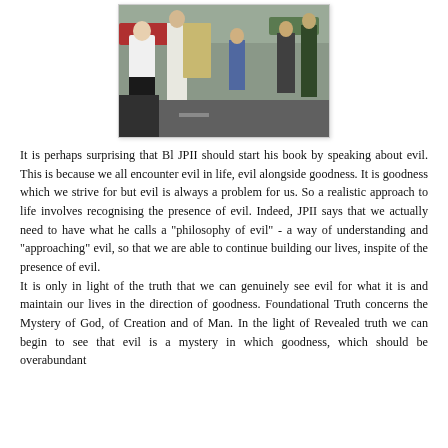[Figure (photo): Outdoor photo showing people in religious/clerical robes and others standing in what appears to be a parking lot or street setting.]
It is perhaps surprising that Bl JPII should start his book by speaking about evil. This is because we all encounter evil in life, evil alongside goodness. It is goodness which we strive for but evil is always a problem for us. So a realistic approach to life involves recognising the presence of evil. Indeed, JPII says that we actually need to have what he calls a "philosophy of evil" - a way of understanding and "approaching" evil, so that we are able to continue building our lives, inspite of the presence of evil.
It is only in light of the truth that we can genuinely see evil for what it is and maintain our lives in the direction of goodness. Foundational Truth concerns the Mystery of God, of Creation and of Man. In the light of Revealed truth we can begin to see that evil is a mystery in which goodness, which should be overabundant